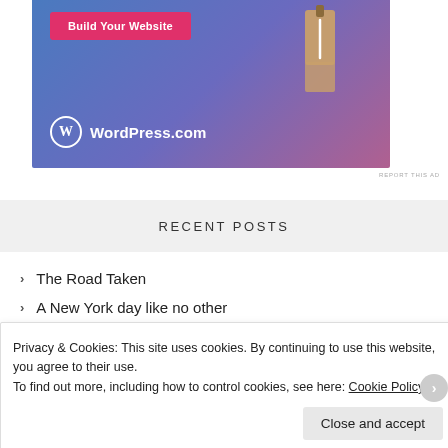[Figure (illustration): WordPress.com advertisement banner with blue-purple-pink gradient background, a pink 'Build Your Website' button, a hanging price tag illustration, and WordPress.com logo with circular W icon]
REPORT THIS AD
RECENT POSTS
The Road Taken
A New York day like no other
Privacy & Cookies: This site uses cookies. By continuing to use this website, you agree to their use. To find out more, including how to control cookies, see here: Cookie Policy
Close and accept